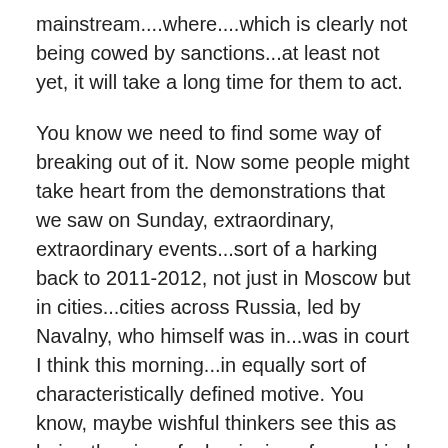mainstream....where....which is clearly not being cowed by sanctions...at least not yet, it will take a long time for them to act.
You know we need to find some way of breaking out of it. Now some people might take heart from the demonstrations that we saw on Sunday, extraordinary, extraordinary events...sort of a harking back to 2011-2012, not just in Moscow but in cities...cities across Russia, led by Navalny, who himself was in...was in court I think this morning...in equally sort of characteristically defined motive. You know, maybe wishful thinkers see this as being the sign of a beginning of some kind of popular upheaval that might oust Putin. I, I, I wouldn't hold my breath. He put them down in 2011-12, I'm sure he can do the same thing again. But you know, even if, even if it were...what would...you know what would happen? Would...would a president Navalny pull out of Crimea? Well no, not